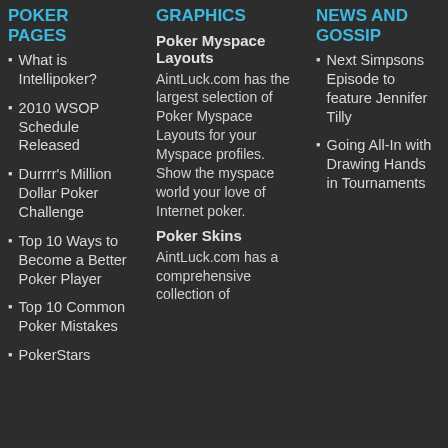POKER PAGES
What is Intellipoker?
2010 WSOP Schedule Released
Durrrr's Million Dollar Poker Challenge
Top 10 Ways to Become a Better Poker Player
Top 10 Common Poker Mistakes
PokerStars
GRAPHICS
Poker Myspace Layouts
AintLuck.com has the largest selection of Poker Myspace Layouts for your Myspace profiles. Show the myspace world your love of Internet poker.
Poker Skins
AintLuck.com has a comprehensive collection of
NEWS AND GOSSIP
Next Simpsons Episode to feature Jennifer Tilly
Going All-In with Drawing Hands in Tournaments